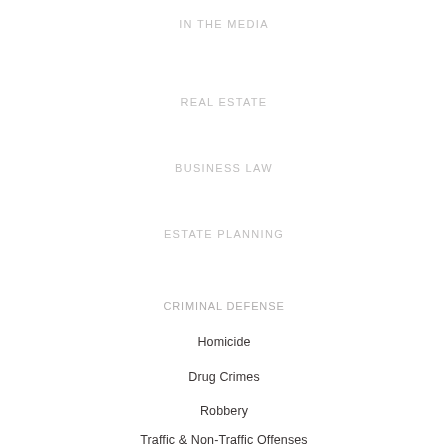IN THE MEDIA
REAL ESTATE
BUSINESS LAW
ESTATE PLANNING
CRIMINAL DEFENSE
Homicide
Drug Crimes
Robbery
Traffic & Non-Traffic Offenses